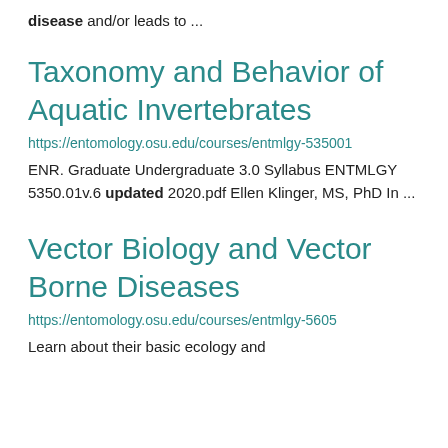disease and/or leads to ...
Taxonomy and Behavior of Aquatic Invertebrates
https://entomology.osu.edu/courses/entmlgy-535001
ENR. Graduate Undergraduate 3.0 Syllabus ENTMLGY 5350.01v.6 updated 2020.pdf Ellen Klinger, MS, PhD In ...
Vector Biology and Vector Borne Diseases
https://entomology.osu.edu/courses/entmlgy-5605
Learn about their basic ecology and